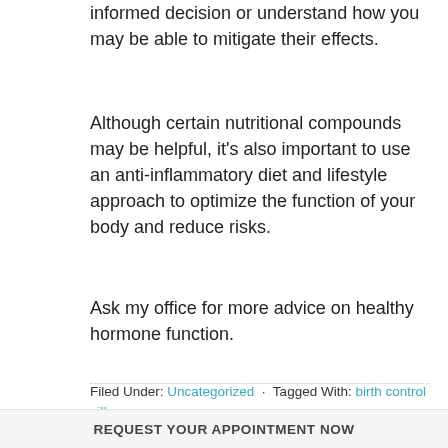informed decision or understand how you may be able to mitigate their effects.
Although certain nutritional compounds may be helpful, it's also important to use an anti-inflammatory diet and lifestyle approach to optimize the function of your body and reduce risks.
Ask my office for more advice on healthy hormone function.
Filed Under: Uncategorized · Tagged With: birth control pills
REQUEST YOUR APPOINTMENT NOW